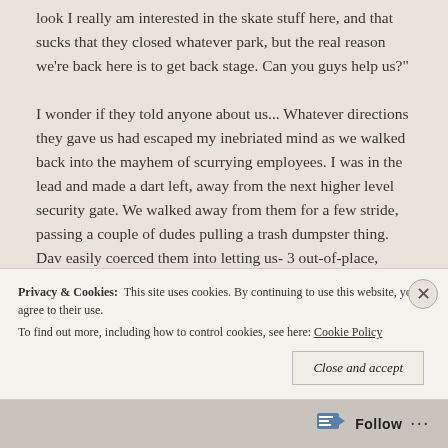look I really am interested in the skate stuff here, and that sucks that they closed whatever park, but the real reason we're back here is to get back stage. Can you guys help us?"

I wonder if they told anyone about us... Whatever directions they gave us had escaped my inebriated mind as we walked back into the mayhem of scurrying employees. I was in the lead and made a dart left, away from the next higher level security gate. We walked away from them for a few stride, passing a couple of dudes pulling a trash dumpster thing. Dav easily coerced them into letting us- 3 out-of-place, staggering, not-uniformed weirdos- have it, probably by saying something to
Privacy & Cookies:  This site uses cookies. By continuing to use this website, you agree to their use.
To find out more, including how to control cookies, see here: Cookie Policy
Close and accept
Follow ···